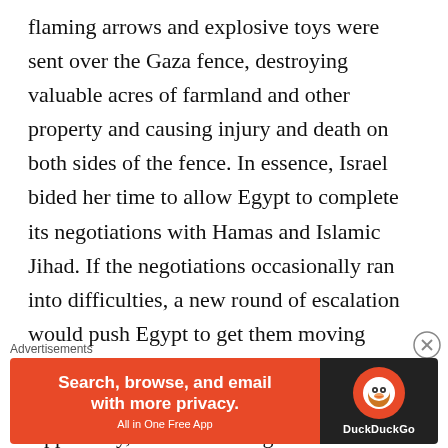flaming arrows and explosive toys were sent over the Gaza fence, destroying valuable acres of farmland and other property and causing injury and death on both sides of the fence. In essence, Israel bided her time to allow Egypt to complete its negotiations with Hamas and Islamic Jihad. If the negotiations occasionally ran into difficulties, a new round of escalation would push Egypt to get them moving again, even more seriously than before.
Apparently, Israel is willing to settle for proportionate responses, instead of pursuing the
Advertisements
[Figure (other): DuckDuckGo advertisement banner. Orange left panel with text 'Search, browse, and email with more privacy. All in One Free App'. Dark right panel with DuckDuckGo logo (duck icon in orange circle) and 'DuckDuckGo' text in white.]